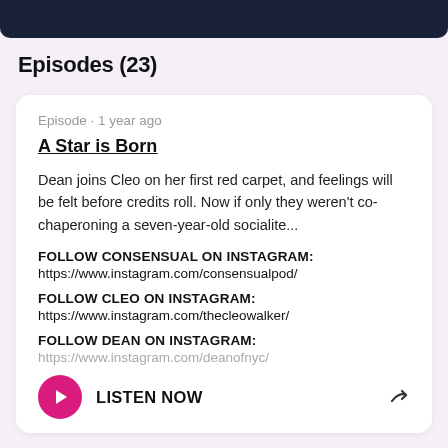Episodes (23)
Episode · 1 year ago
A Star is Born
Dean joins Cleo on her first red carpet, and feelings will be felt before credits roll. Now if only they weren't co-chaperoning a seven-year-old socialite...
FOLLOW CONSENSUAL ON INSTAGRAM:
https://www.instagram.com/consensualpod/
FOLLOW CLEO ON INSTAGRAM:
https://www.instagram.com/thecleowalker/
FOLLOW DEAN ON INSTAGRAM:
https://www.instagram.com/deanofnyc/
LISTEN NOW